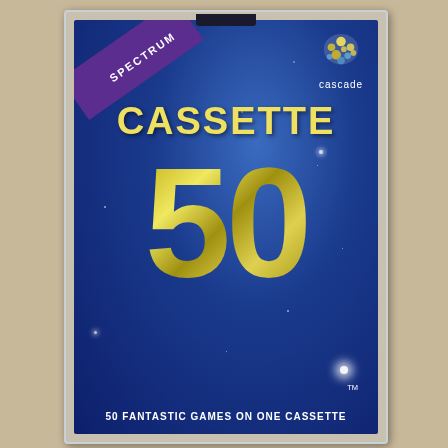[Figure (photo): A photograph of a Spectrum Cassette 50 game compilation tape in a clear plastic case. The label is blue with a starfield background. It shows the 'SPECTRUM' text in a purple diagonal banner, the 'cascade' logo in the top right with bubble graphics, large yellow '50' number, 'CASSETTE' text above it, and '50 FANTASTIC GAMES ON ONE CASSETTE' at the bottom.]